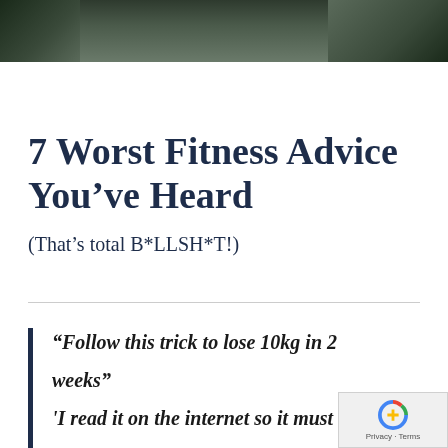[Figure (photo): Dark outdoor photo strip showing partial figures of people against a green background, cropped at top of page]
7 Worst Fitness Advice You've Heard
(That's total B*LLSH*T!)
“Follow this trick to lose 10kg in 2 weeks”
'I read it on the internet so it must